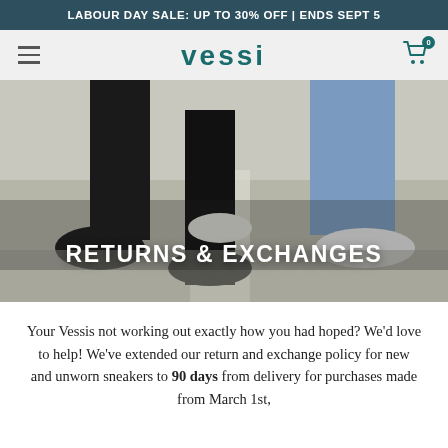LABOUR DAY SALE: UP TO 30% OFF | ENDS SEPT 5
[Figure (screenshot): Vessi brand navigation bar with hamburger menu, Vessi logo in teal, and shopping cart icon with 0 badge]
[Figure (photo): Hero image showing legs of people walking in Vessi sneakers on a crosswalk, overlaid with bold white text 'RETURNS & EXCHANGES']
RETURNS & EXCHANGES
Your Vessis not working out exactly how you had hoped? We'd love to help! We've extended our return and exchange policy for new and unworn sneakers to 90 days from delivery for purchases made from March 1st,